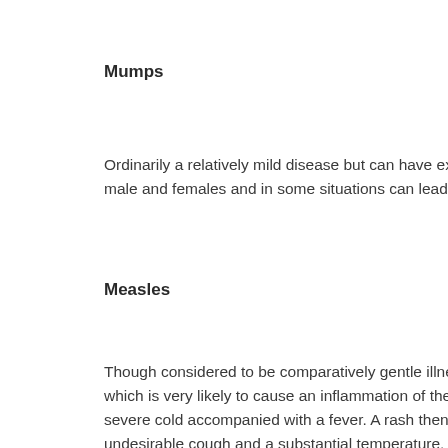Mumps
Ordinarily a relatively mild disease but can have extreme hearing problems affecting each male and females and in some situations can lead to everlasting deafness.
Measles
Though considered to be comparatively gentle illness it is actually really a severe disease which is very likely to cause an inflammation of the brain. Measles manifests by itself in a severe cold accompanied with a fever. A rash then seems which is often mixed with a undesirable cough and a substantial temperature. Measles can direct to ear